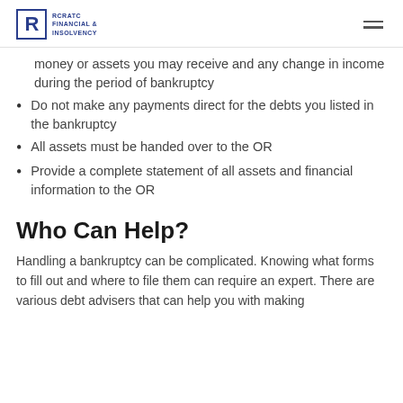RCRATC Financial & Insolvency
money or assets you may receive and any change in income during the period of bankruptcy
Do not make any payments direct for the debts you listed in the bankruptcy
All assets must be handed over to the OR
Provide a complete statement of all assets and financial information to the OR
Who Can Help?
Handling a bankruptcy can be complicated. Knowing what forms to fill out and where to file them can require an expert. There are various debt advisers that can help you with making